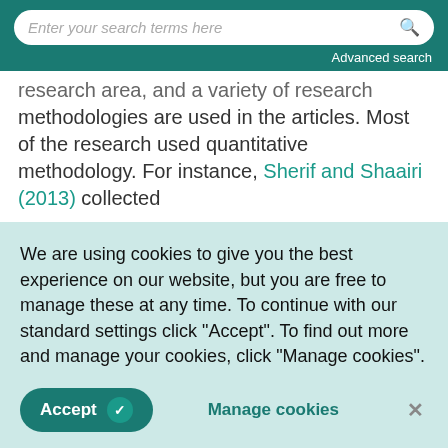Enter your search terms here | Advanced search
research area, and a variety of research methodologies are used in the articles. Most of the research used quantitative methodology. For instance, Sherif and Shaairi (2013) collected
We are using cookies to give you the best experience on our website, but you are free to manage these at any time. To continue with our standard settings click "Accept". To find out more and manage your cookies, click "Manage cookies".
Accept | Manage cookies | ×
of analysis is qualitative methods, which allow data